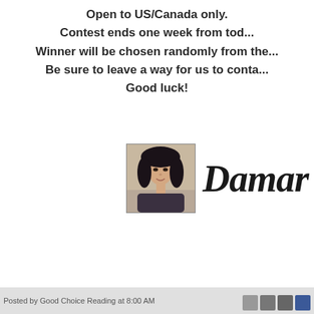Open to US/Canada only.
Contest ends one week from today.
Winner will be chosen randomly from the entries.
Be sure to leave a way for us to contact you!
Good luck!
[Figure (photo): Author photo of a woman with dark hair, next to a cursive signature reading 'Damari' (partially visible)]
Posted by Good Choice Reading at 8:00 AM